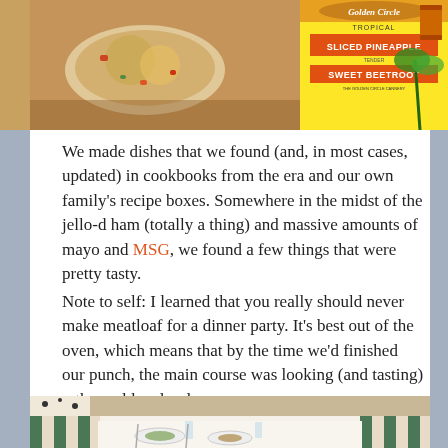[Figure (photo): Top image showing two photos side by side: left shows a dish with colorful food on a decorative cloth, right shows a Golden Circle Tropical Sliced Pineapple and Sweet Beetroot can label with tropical design]
We made dishes that we found (and, in most cases, updated) in cookbooks from the era and our own family's recipe boxes. Somewhere in the midst of the jello-d ham (totally a thing) and massive amounts of mayo and MSG, we found a few things that were pretty tasty.
Note to self: I learned that you really should never make meatloaf for a dinner party. It's best out of the oven, which means that by the time we'd finished our punch, the main course was looking (and tasting) rather cold and sad.
[Figure (photo): Bottom photo showing a dinner party table set with plates, glassware, and food, with striped chairs visible in the background]